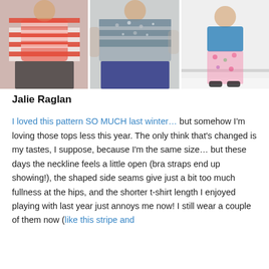[Figure (photo): Three side-by-side photos of women wearing sewn garments: left shows a red and white striped raglan top with dark pants, middle shows a patterned fair-isle style top with dark jeans, right shows a child in a teal top and floral leggings.]
Jalie Raglan
I loved this pattern SO MUCH last winter… but somehow I'm loving those tops less this year. The only think that's changed is my tastes, I suppose, because I'm the same size… but these days the neckline feels a little open (bra straps end up showing!), the shaped side seams give just a bit too much fullness at the hips, and the shorter t-shirt length I enjoyed playing with last year just annoys me now! I still wear a couple of them now (like this stripe and